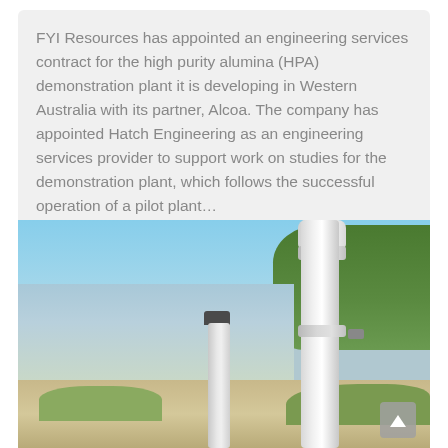FYI Resources has appointed an engineering services contract for the high purity alumina (HPA) demonstration plant it is developing in Western Australia with its partner, Alcoa. The company has appointed Hatch Engineering as an engineering services provider to support work on studies for the demonstration plant, which follows the successful operation of a pilot plant...
[Figure (photo): Outdoor photograph showing a body of water (lake or river) with dead trees in the background on the left and green eucalyptus trees on the right. In the foreground are two white PVC pipes or monitoring bores standing upright in sandy/gravelly ground with patchy grass. The taller pipe on the right has a cap fitting and a valve/tap. The shorter pipe in the centre has a dark cap. Background shows a bright blue sky.]